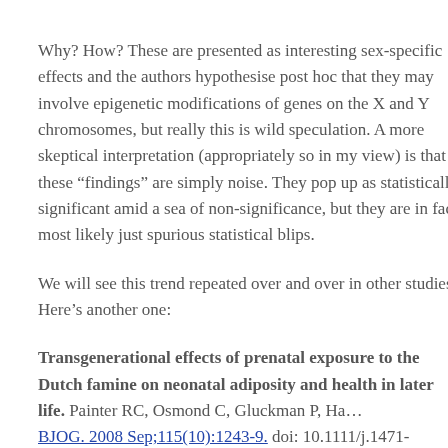Why? How? These are presented as interesting sex-specific effects and the authors hypothesise post hoc that they may involve epigenetic modifications of genes on the X and Y chromosomes, but really this is wild speculation. A more skeptical interpretation (appropriately so in my view) is that these “findings” are simply noise. They pop up as statistically significant amid a sea of non-significance, but they are in fact most likely just spurious statistical blips.
We will see this trend repeated over and over in other studies. Here’s another one:
Transgenerational effects of prenatal exposure to the Dutch famine on neonatal adiposity and health in later life. Painter RC, Osmond C, Gluckman P, Ha... BJOG. 2008 Sep;115(10):1243-9. doi: 10.1111/j.1471-0528.2008.01822.x.